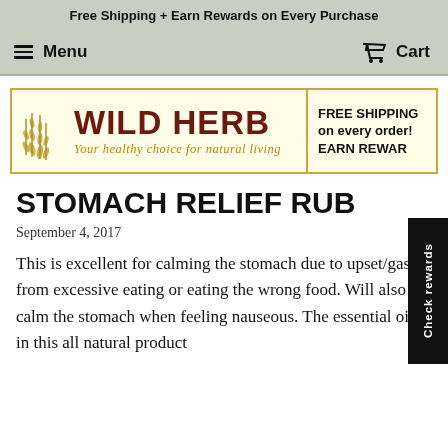Free Shipping + Earn Rewards on Every Purchase
Menu   Cart
[Figure (logo): Wild Herb logo banner with wheat illustration, tagline 'Your healthy choice for natural living', and FREE SHIPPING on every order! EARN REWARDS text on right side]
STOMACH RELIEF RUB
September 4, 2017
This is excellent for calming the stomach due to upset/gas from excessive eating or eating the wrong food. Will also calm the stomach when feeling nauseous. The essential oils in this all natural product